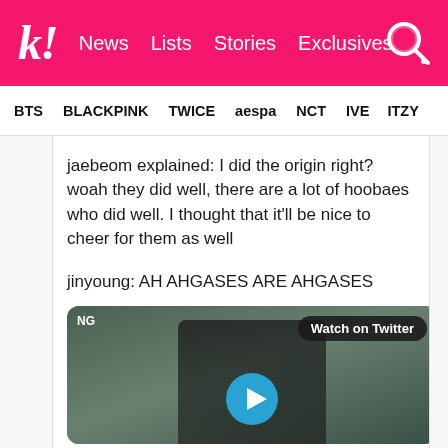k! News Lists Stories Exclusives
BTS BLACKPINK TWICE aespa NCT IVE ITZY
jaebeom explained: I did the origin right? woah they did well, there are a lot of hoobaes who did well. I thought that it'll be nice to cheer for them as well
jinyoung: AH AHGASES ARE AHGASES
[Figure (screenshot): Embedded Twitter video player showing a person in dark clothing and hat, with 'Watch on Twitter' button and blue play button overlay. 'NG' label visible in top-left corner.]